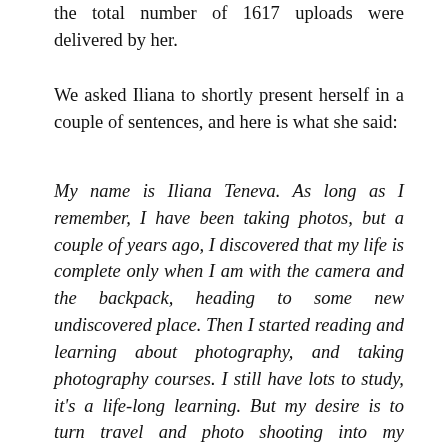the total number of 1617 uploads were delivered by her.
We asked Iliana to shortly present herself in a couple of sentences, and here is what she said:
My name is Iliana Teneva. As long as I remember, I have been taking photos, but a couple of years ago, I discovered that my life is complete only when I am with the camera and the backpack, heading to some new undiscovered place. Then I started reading and learning about photography, and taking photography courses. I still have lots to study, it's a life-long learning. But my desire is to turn travel and photo shooting into my occupation and destiny.